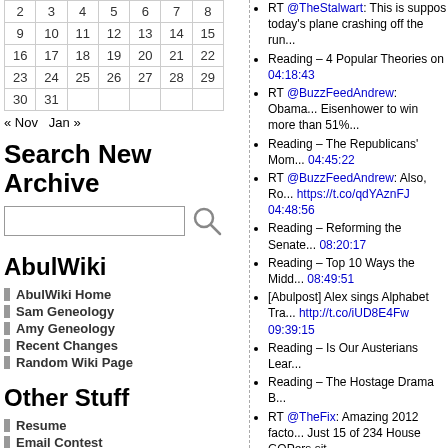| 2 | 3 | 4 | 5 | 6 | 7 | 8 |
| 9 | 10 | 11 | 12 | 13 | 14 | 15 |
| 16 | 17 | 18 | 19 | 20 | 21 | 22 |
| 23 | 24 | 25 | 26 | 27 | 28 | 29 |
| 30 | 31 |  |  |  |  |  |
« Nov   Jan »
Search New Archive
AbulWiki
AbulWiki Home
Sam Geneology
Amy Geneology
Recent Changes
Random Wiki Page
Other Stuff
Resume
Email Contest
Abulsme Function
Old Pictures
The Person
RT @TheStalwart: This is suppos today's plane crashing off the run...
Reading – 4 Popular Theories on 04:18:43
RT @BuzzFeedAndrew: Obama... Eisenhower to win more than 51%...
Reading – The Republicans' Mom... 04:45:22
RT @BuzzFeedAndrew: Also, Ro... https://t.co/qdYAznFJ 04:48:56
Reading – Reforming the Senate... 08:20:17
Reading – Top 10 Ways the Midd... 08:49:51
[Abulpost] Alex sings Alphabet Tra... http://t.co/iUD8E4Fw 09:39:15
Reading – Is Our Austerians Lear...
Reading – The Hostage Drama B...
RT @TheFix: Amazing 2012 facto... Just 15 of 234 House GOPers sit...
Reading – 2012 вЂ" The Year Th...
RT @BuzzFeedAndrew: RT @Ch... that's the rest of the REM lyric "It's...
Reading: Ability to sit and rise from... (Mark Frauenfelder) http://t.co/pF...
RT @ZekeJMiller: RT @chrisgo... worse place than 24 hours ago 20...
Reading: For Republicans, It's All... Drum) http://t.co/1kITM1zc 20:24...
RT @jamisonfoser: The next few...